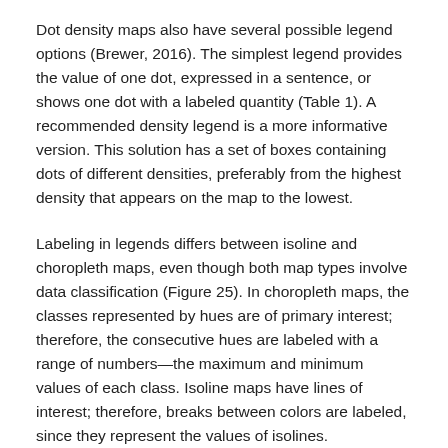Dot density maps also have several possible legend options (Brewer, 2016). The simplest legend provides the value of one dot, expressed in a sentence, or shows one dot with a labeled quantity (Table 1). A recommended density legend is a more informative version. This solution has a set of boxes containing dots of different densities, preferably from the highest density that appears on the map to the lowest.
Labeling in legends differs between isoline and choropleth maps, even though both map types involve data classification (Figure 25). In choropleth maps, the classes represented by hues are of primary interest; therefore, the consecutive hues are labeled with a range of numbers—the maximum and minimum values of each class. Isoline maps have lines of interest; therefore, breaks between colors are labeled, since they represent the values of isolines.